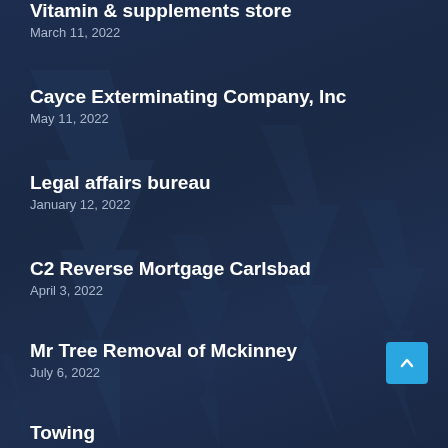Vitamin & supplements store
March 11, 2022
Cayce Exterminating Company, Inc
May 11, 2022
Legal affairs bureau
January 12, 2022
C2 Reverse Mortgage Carlsbad
April 3, 2022
Mr Tree Removal of Mckinney
July 6, 2022
Towing Montgomery